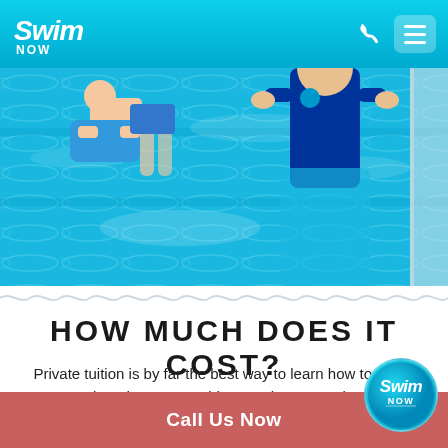Swim Now - navigation header with logo, phone icon, and menu icon
[Figure (photo): Overhead view of a swimming pool with a child using a kickboard and a swim instructor standing in the water beside them]
How Much Does It Cost?
Private tuition is by far the best way to learn how to swim. Even though you pay a bit more than group lessons, undivided attention from your swi...
Call Us Now